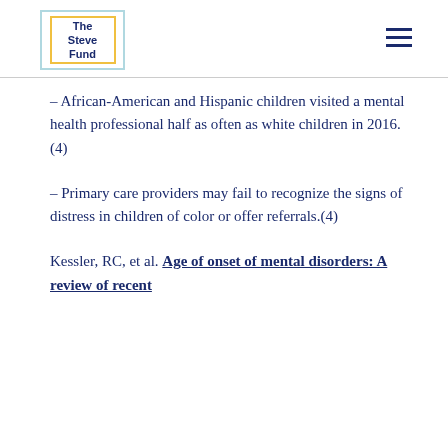The Steve Fund
– African-American and Hispanic children visited a mental health professional half as often as white children in 2016.(4)
– Primary care providers may fail to recognize the signs of distress in children of color or offer referrals.(4)
Kessler, RC, et al. Age of onset of mental disorders: A review of recent